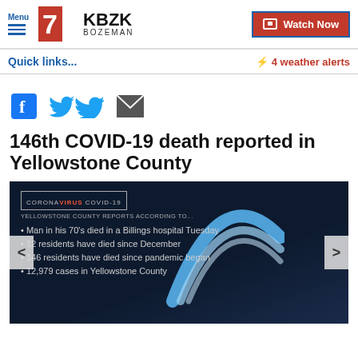Menu | 7 KBZK BOZEMAN | Watch Now
Quick links...
⚡ 4 weather alerts
[Figure (other): Social media share icons: Facebook, Twitter, Email]
146th COVID-19 death reported in Yellowstone County
[Figure (screenshot): News broadcast graphic showing: CORONAVIRUS COVID-19, YELLOWSTONE COUNTY REPORTS ACCORDING TO... • Man in his 70's died in a Billings hospital Tuesday • 12 residents have died since December • 146 residents have died since pandemic began • 12,979 cases in Yellowstone County. Has animated arc graphic overlay. Navigation arrows on left and right.]